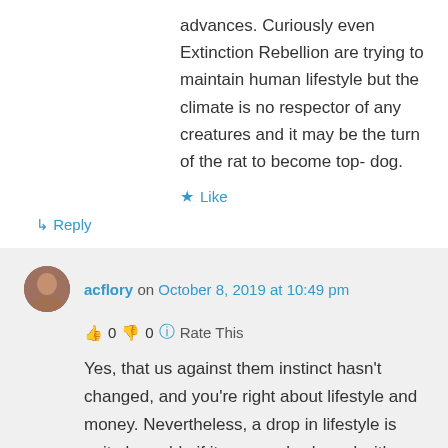advances. Curiously even Extinction Rebellion are trying to maintain human lifestyle but the climate is no respector of any creatures and it may be the turn of the rat to become top- dog.
★ Like
↳ Reply
acflory on October 8, 2019 at 10:49 pm
👍 0 👎 0 ℹ Rate This
Yes, that us against them instinct hasn't changed, and you're right about lifestyle and money. Nevertheless, a drop in lifestyle is quite bearable if it occurs slowly and with an element of control. I guess that's all the